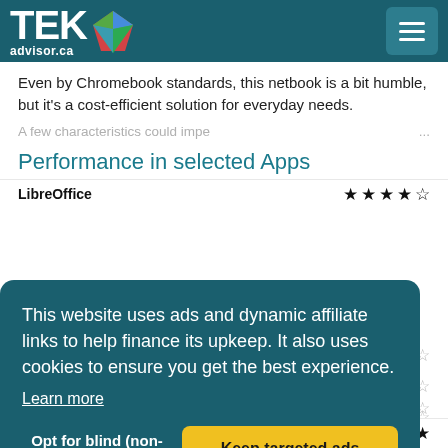TEKadvisor.ca
Even by Chromebook standards, this netbook is a bit humble, but it's a cost-efficient solution for everyday needs.
A few characteristics could impe ...
Performance in selected Apps
LibreOffice ★★★★☆
This website uses ads and dynamic affiliate links to help finance its upkeep. It also uses cookies to ensure you get the best experience. Learn more
Opt for blind (non-targeted) ads | Keep targeted ads
Battery Autonomy ★★★